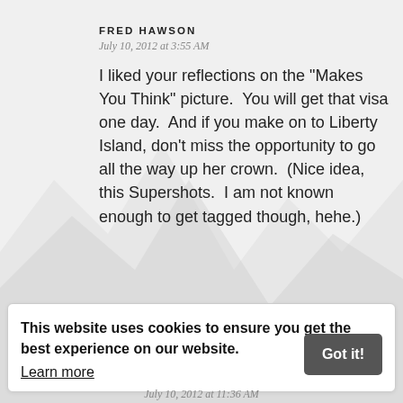FRED HAWSON
July 10, 2012 at 3:55 AM
I liked your reflections on the "Makes You Think" picture.  You will get that visa one day.  And if you make on to Liberty Island, don't miss the opportunity to go all the way up her crown.  (Nice idea, this Supershots.  I am not known enough to get tagged though, hehe.)
Reply
This website uses cookies to ensure you get the best experience on our website. Learn more Got it!
July 10, 2012 at 11:36 AM